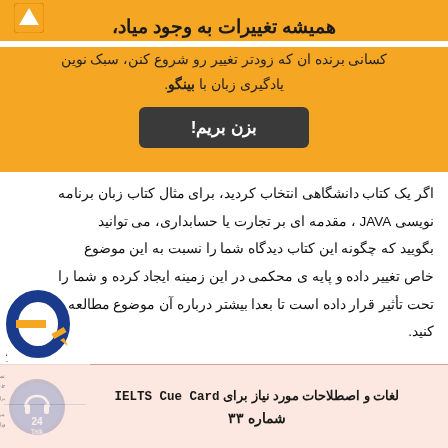همیشه تغییرات به وجود مياد،
کسانی برنده ان که زودتر تغییر رو شروع کنن، سبک نوین یادگیری زبان با بینگو.
بزن بریم!
اگر یک کتاب دانشگاهی انتخاب کردید، برای مثال کتاب زبان برنامه نویسی JAVA ، مقدمه ای بر تجارت یا حسابداری، می توانید بگویید که چگونه این کتاب دیدگاه شما را نسبت به این موضوع خاص تغییر داده و پایه ی محکمی در این زمینه ایجاد کرده و شما را تحت تأثیر قرار داده است تا بعدا بیشتر درباره آن موضوع مطالعه کنید.
[Figure (logo): eNAMAD electronic trust logo with blue swirl 'e' design and orange pen element, with text نماد اعتماد الکترونیکی and www.eNAMAD.ir]
لغات و اصطلاحات مورد نیاز برای IELTS Cue Card
شماره ۳۳